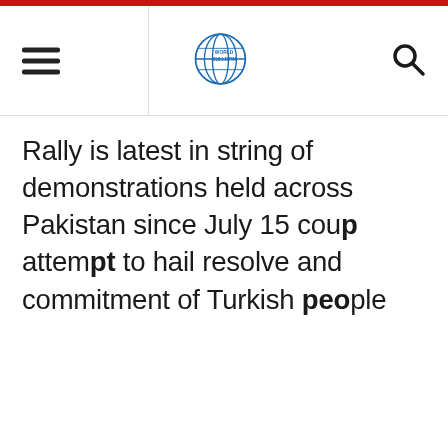World Bulletin
Rally is latest in string of demonstrations held across Pakistan since July 15 coup attempt to hail resolve and commitment of Turkish people